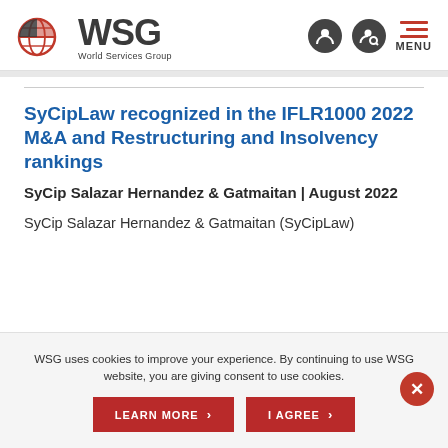[Figure (logo): WSG World Services Group logo with globe icon and text]
SyCipLaw recognized in the IFLR1000 2022 M&A and Restructuring and Insolvency rankings
SyCip Salazar Hernandez & Gatmaitan | August 2022
SyCip Salazar Hernandez & Gatmaitan (SyCipLaw)
WSG uses cookies to improve your experience. By continuing to use WSG website, you are giving consent to use cookies.